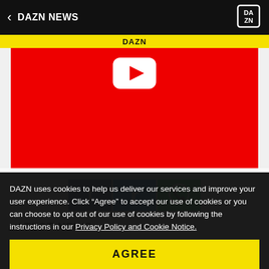< DAZN NEWS | DAZN logo
DAZN
[Figure (screenshot): Red YouTube-style video thumbnail with white play button icon]
[Figure (infographic): Social share buttons: Facebook (dark blue), Twitter (light blue), WhatsApp (green)]
LATEST NEWS
DAZN uses cookies to help us deliver our services and improve your user experience. Click “Agree” to accept our use of cookies or you can choose to opt out of our use of cookies by following the instructions in our Privacy Policy and Cookie Notice.
AGREE